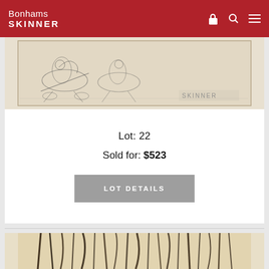Bonhams SKINNER
[Figure (photo): Partial view of an antique print/etching showing figures on horseback, with 'SKINNER' text visible in lower right corner. Beige/sepia toned.]
Lot: 22
Sold for: $523
LOT DETAILS
[Figure (photo): Partial view of an abstract artwork with dark brush strokes on a beige/tan background, showing vertical and curved black lines.]